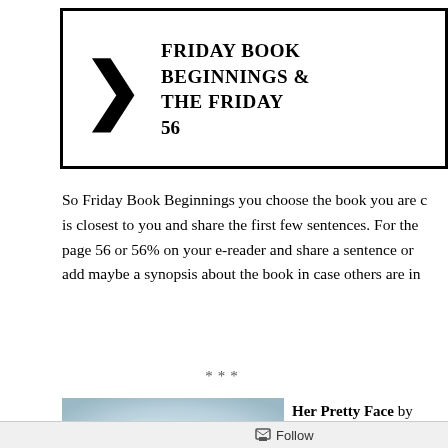[Figure (infographic): Banner box with a bold chevron arrow pointing right, and text reading FRIDAY BOOK BEGINNINGS & THE FRIDAY 56]
So Friday Book Beginnings you choose the book you are c... is closest to you and share the first few sentences. For the page 56 or 56% on your e-reader and share a sentence or add maybe a synopsis about the book in case others are in...
***
[Figure (photo): Book cover image with a pale blue/grey misty background showing a blurry circular shape]
Her Pretty Face by Roby...
Published on: July 10th, 2...
Follow